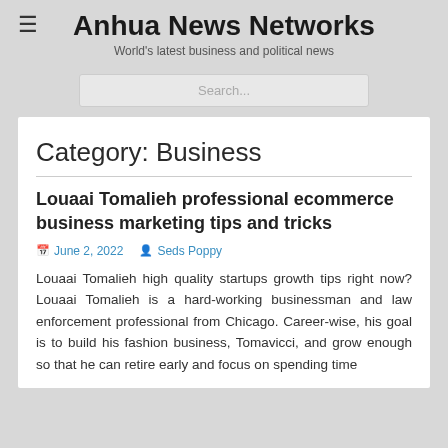Anhua News Networks
World's latest business and political news
Category: Business
Louaai Tomalieh professional ecommerce business marketing tips and tricks
June 2, 2022   Seds Poppy
Louaai Tomalieh high quality startups growth tips right now? Louaai Tomalieh is a hard-working businessman and law enforcement professional from Chicago. Career-wise, his goal is to build his fashion business, Tomavicci, and grow enough so that he can retire early and focus on spending time